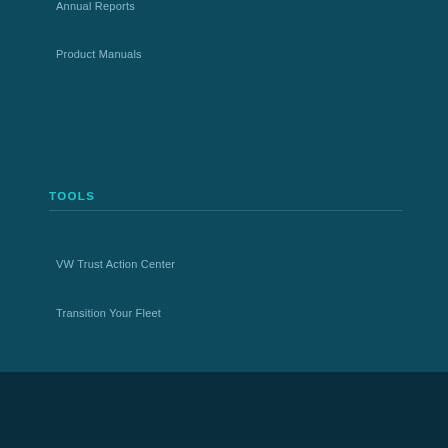Annual Reports
Product Manuals
TOOLS
VW Trust Action Center
Transition Your Fleet
© 2022 NGV America All Rights Reserved